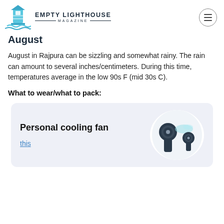Empty Lighthouse Magazine
August
August in Rajpura can be sizzling and somewhat rainy. The rain can amount to several inches/centimeters. During this time, temperatures average in the low 90s F (mid 30s C).
What to wear/what to pack:
[Figure (other): Product card for a personal cooling fan with image of two small handheld fans and a link labeled 'this']